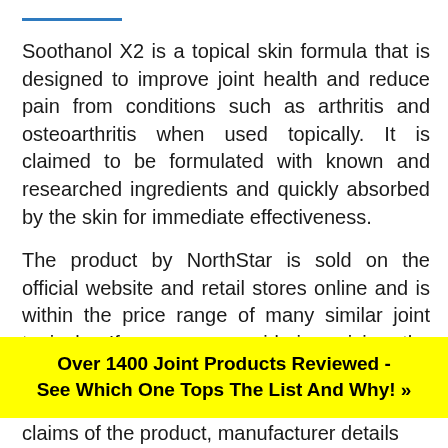Soothanol X2 is a topical skin formula that is designed to improve joint health and reduce pain from conditions such as arthritis and osteoarthritis when used topically. It is claimed to be formulated with known and researched ingredients and quickly absorbed by the skin for immediate effectiveness.
The product by NorthStar is sold on the official website and retail stores online and is within the price range of many similar joint topicals. If you are considering giving the product a try but looking to know more about it, you are just in the right place.
Over 1400 Joint Products Reviewed - See Which One Tops The List And Why! >>
claims of the product, manufacturer details